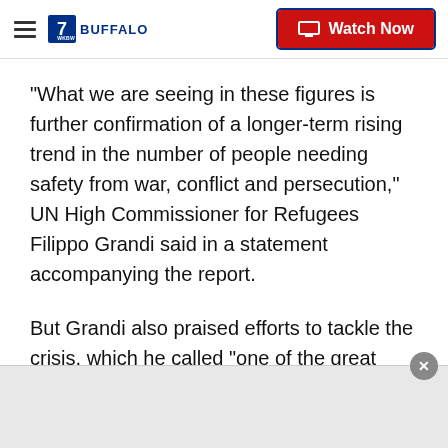7 WKBW BUFFALO | Watch Now
"What we are seeing in these figures is further confirmation of a longer-term rising trend in the number of people needing safety from war, conflict and persecution," UN High Commissioner for Refugees Filippo Grandi said in a statement accompanying the report.
But Grandi also praised efforts to tackle the crisis, which he called "one of the great challenges of our times."
"While language around refugees and migrants is often